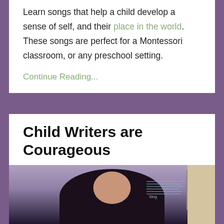Learn songs that help a child develop a sense of self, and their place in the world. These songs are perfect for a Montessori classroom, or any preschool setting.
Continue Reading...
Child Writers are Courageous
Children, Sing Into Reading, Teaching, Writing   Mar 04, 2021
[Figure (photo): Photo of a person with dark hair, partially visible, with a screen or book visible to the right side of the image.]